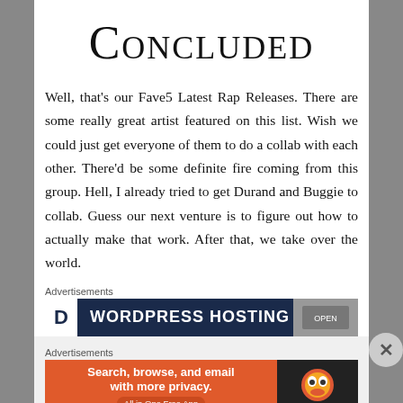Concluded
Well, that's our Fave5 Latest Rap Releases. There are some really great artist featured on this list. Wish we could just get everyone of them to do a collab with each other. There'd be some definite fire coming from this group. Hell, I already tried to get Durand and Buggie to collab. Guess our next venture is to figure out how to actually make that work. After that, we take over the world.
Advertisements
[Figure (other): WordPress Hosting advertisement banner with dark navy background, white D icon on left, bold white text WORDPRESS HOSTING, and a photo on the right]
Advertisements
[Figure (other): DuckDuckGo advertisement banner: orange left panel with text 'Search, browse, and email with more privacy. All in One Free App', dark right panel with DuckDuckGo logo]